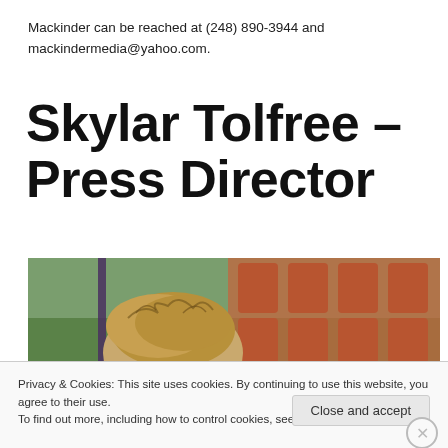Mackinder can be reached at (248) 890-3944 and mackindermedia@yahoo.com.
Skylar Tolfree – Press Director
[Figure (photo): Photo of a person seen from behind with messy blonde/brown hair, outdoors near colorful orange/red patterned background and green grass]
Privacy & Cookies: This site uses cookies. By continuing to use this website, you agree to their use.
To find out more, including how to control cookies, see here: Cookie Policy
Close and accept